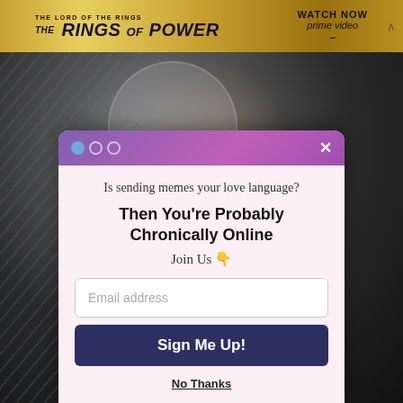[Figure (screenshot): Amazon Prime Video advertisement banner for The Lord of the Rings: The Rings of Power, with golden background. Text reads 'THE LORD OF THE RINGS THE RINGS OF POWER WATCH NOW prime video']
[Figure (photo): Webpage screenshot showing a photo of a man with curly hair in dark setting, overlaid with a pink 'Find more in the app!' button and a modal popup]
Find more in the app!
Is sending memes your love language?
Then You're Probably Chronically Online
Join Us 👇
Email address
Sign Me Up!
No Thanks